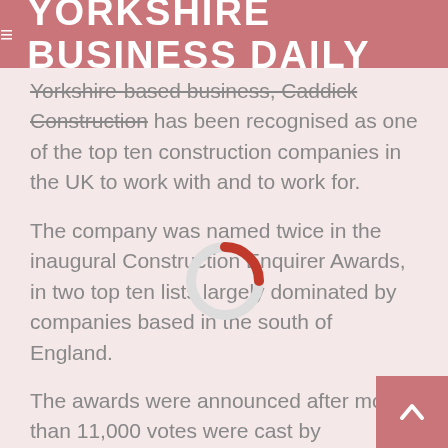YORKSHIRE BUSINESS DAILY
Yorkshire-based business, Caddick Construction has been recognised as one of the top ten construction companies in the UK to work with and to work for.
The company was named twice in the inaugural Construction Enquirer Awards, in two top ten lists largely dominated by companies based in the south of England.
The awards were announced after more than 11,000 votes were cast by construction industry professionals, naming Caddick as one of the top ten Best Main Contractors to Work For (£50m – £250m turnover) and one of the top ten Best Contractors to Work With (£50m – £250m